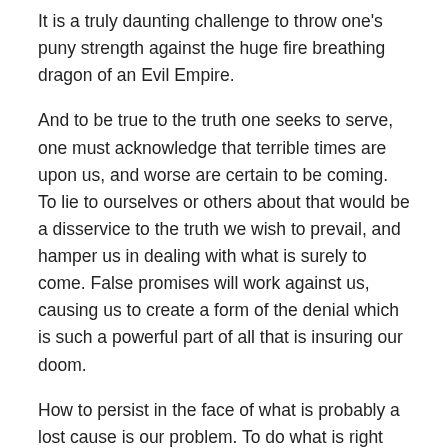It is a truly daunting challenge to throw one’s puny strength against the huge fire breathing dragon of an Evil Empire.
And to be true to the truth one seeks to serve, one must acknowledge that terrible times are upon us, and worse are certain to be coming. To lie to ourselves or others about that would be a disservice to the truth we wish to prevail, and hamper us in dealing with what is surely to come. False promises will work against us, causing us to create a form of the denial which is such a powerful part of all that is insuring our doom.
How to persist in the face of what is probably a lost cause is our problem. To do what is right and